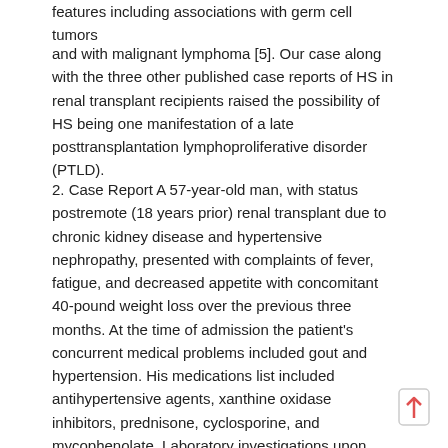features including associations with germ cell tumors
and with malignant lymphoma [5]. Our case along with the three other published case reports of HS in renal transplant recipients raised the possibility of HS being one manifestation of a late posttransplantation lymphoproliferative disorder (PTLD).
2. Case Report A 57-year-old man, with status postremote (18 years prior) renal transplant due to chronic kidney disease and hypertensive nephropathy, presented with complaints of fever, fatigue, and decreased appetite with concomitant 40-pound weight loss over the previous three months. At the time of admission the patient's concurrent medical problems included gout and hypertension. His medications list included antihypertensive agents, xanthine oxidase inhibitors, prednisone, cyclosporine, and mycophenolate. Laboratory investigations upon arrival revealed a neutrophilic predominant leukocytosis, 89% (ref. 44–65%) of total white blood cells with an accordingly low lymphocyte proportion, 3% (ref. 25– 46%). Microbiology results were noncontributory and were